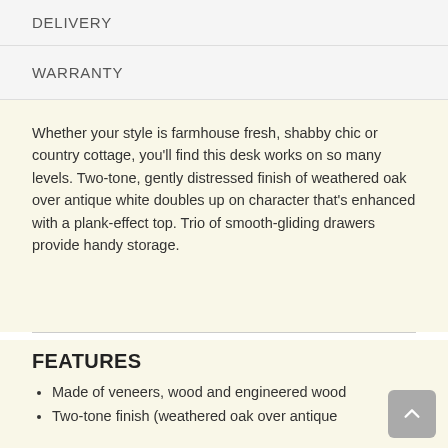DELIVERY
WARRANTY
Whether your style is farmhouse fresh, shabby chic or country cottage, you'll find this desk works on so many levels. Two-tone, gently distressed finish of weathered oak over antique white doubles up on character that's enhanced with a plank-effect top. Trio of smooth-gliding drawers provide handy storage.
FEATURES
Made of veneers, wood and engineered wood
Two-tone finish (weathered oak over antique